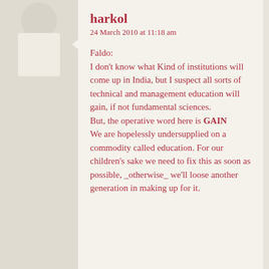harkol
24 March 2010 at 11:18 am
Faldo:
I don’t know what Kind of institutions will come up in India, but I suspect all sorts of technical and management education will gain, if not fundamental sciences.
But, the operative word here is GAIN
We are hopelessly undersupplied on a commodity called education. For our children’s sake we need to fix this as soon as possible, _otherwise_ we’ll loose another generation in making up for it.